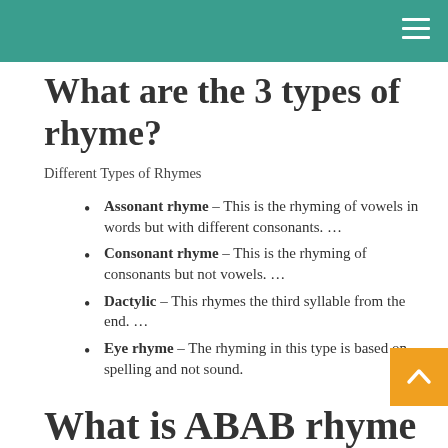What are the 3 types of rhyme?
Different Types of Rhymes
Assonant rhyme – This is the rhyming of vowels in words but with different consonants. …
Consonant rhyme – This is the rhyming of consonants but not vowels. …
Dactylic – This rhymes the third syllable from the end. …
Eye rhyme – The rhyming in this type is based on spelling and not sound.
What is ABAB rhyme